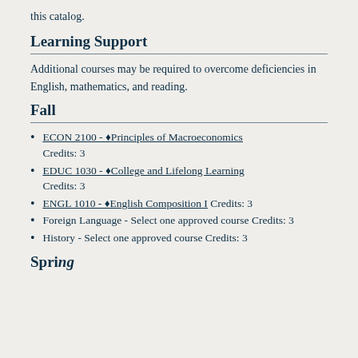this catalog.
Learning Support
Additional courses may be required to overcome deficiencies in English, mathematics, and reading.
Fall
ECON 2100 - ♦Principles of Macroeconomics Credits: 3
EDUC 1030 - ♦College and Lifelong Learning Credits: 3
ENGL 1010 - ♦English Composition I Credits: 3
Foreign Language - Select one approved course Credits: 3
History - Select one approved course Credits: 3
Spring